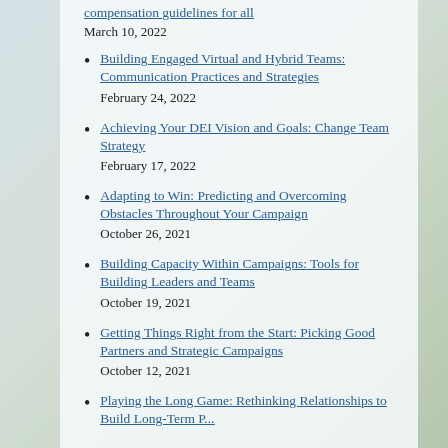compensation guidelines for all
March 10, 2022
Building Engaged Virtual and Hybrid Teams: Communication Practices and Strategies
February 24, 2022
Achieving Your DEI Vision and Goals: Change Team Strategy
February 17, 2022
Adapting to Win: Predicting and Overcoming Obstacles Throughout Your Campaign
October 26, 2021
Building Capacity Within Campaigns: Tools for Building Leaders and Teams
October 19, 2021
Getting Things Right from the Start: Picking Good Partners and Strategic Campaigns
October 12, 2021
Playing the Long Game: Rethinking Relationships to Build Long-Term Power